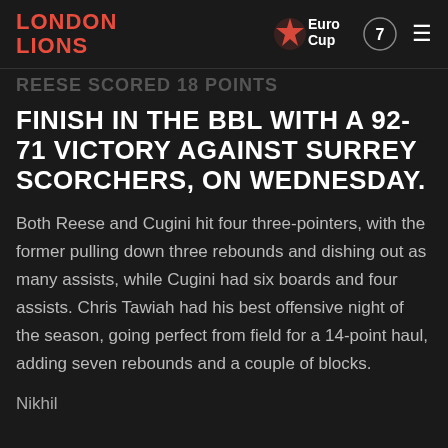LONDON LIONS | EuroCup 7 | menu
REESE SCORED 18 POINTS
FINISH IN THE BBL WITH A 92-71 VICTORY AGAINST SURREY SCORCHERS, ON WEDNESDAY.
Both Reese and Cugini hit four three-pointers, with the former pulling down three rebounds and dishing out as many assists, while Cugini had six boards and four assists. Chris Tawiah had his best offensive night of the season, going perfect from field for a 14-point haul, adding seven rebounds and a couple of blocks.
Nikhil...